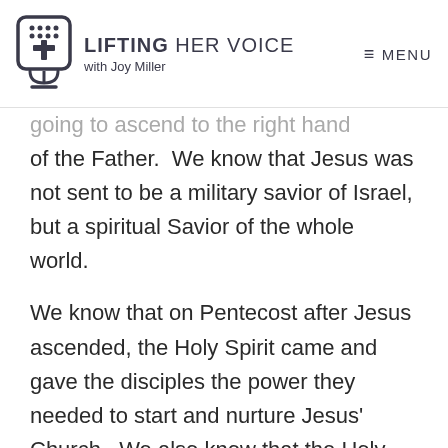LIFTING HER VOICE with Joy Miller — MENU
going to ascend to the right hand of the Father.  We know that Jesus was not sent to be a military savior of Israel, but a spiritual Savior of the whole world.
We know that on Pentecost after Jesus ascended, the Holy Spirit came and gave the disciples the power they needed to start and nurture Jesus' Church.  We also know that the Holy Spirit resides in